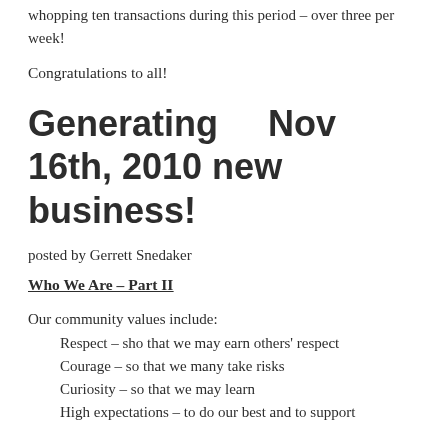whopping ten transactions during this period – over three per week!
Congratulations to all!
Generating    Nov 16th, 2010 new business!
posted by Gerrett Snedaker
Who We Are – Part II
Our community values include:
Respect – sho that we may earn others' respect
Courage – so that we many take risks
Curiosity – so that we may learn
High expectations – to do our best and to support